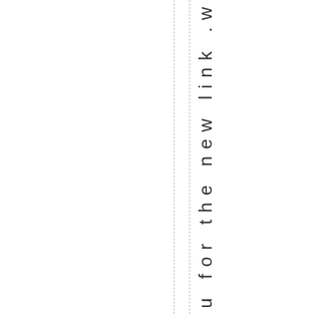odwork. Thank you for the new link. w